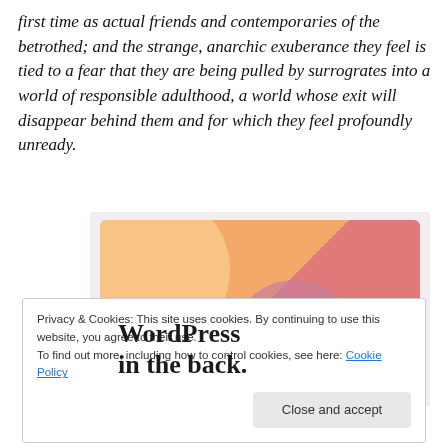first time as actual friends and contemporaries of the betrothed; and the strange, anarchic exuberance they feel is tied to a fear that they are being pulled by surrogrates into a world of responsible adulthood, a world whose exit will disappear behind them and for which they feel profoundly unready.
[Figure (illustration): WordPress advertisement banner with colorful gradient background (orange to pink/red) with overlapping circles, showing bold text 'WordPress in the back.']
Privacy & Cookies: This site uses cookies. By continuing to use this website, you agree to their use.
To find out more, including how to control cookies, see here: Cookie Policy
Close and accept